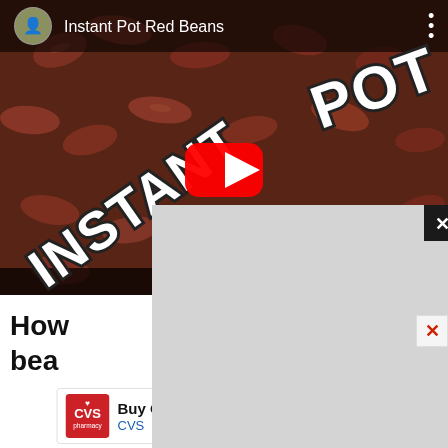[Figure (screenshot): YouTube video thumbnail for 'Instant Pot Red Beans' showing red beans in sauce with bold text overlay 'INSTANT POT BEANS' and a YouTube play button in the center. Channel avatar in top-left corner.]
[Figure (screenshot): Overlay popup ad (gray rectangle) covering part of the video and heading text, with an X close button in the top-right corner of the overlay.]
How to cook beans...
[Figure (screenshot): CVS Pharmacy advertisement banner: 'Buy Online, Pick Up In-Store' with CVS logo on the left and a blue directional arrow icon on the right.]